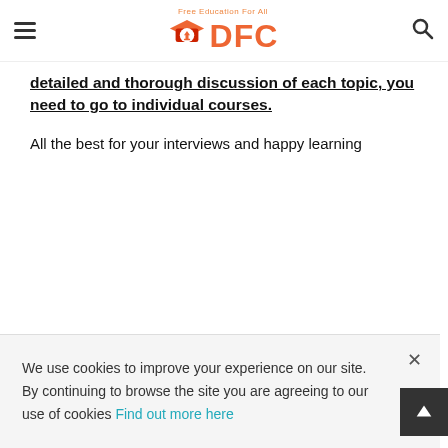Free Education For All — DFC logo with hamburger menu and search icon
detailed and thorough discussion of each topic, you need to go to individual courses.
All the best for your interviews and happy learning
We use cookies to improve your experience on our site. By continuing to browse the site you are agreeing to our use of cookies Find out more here